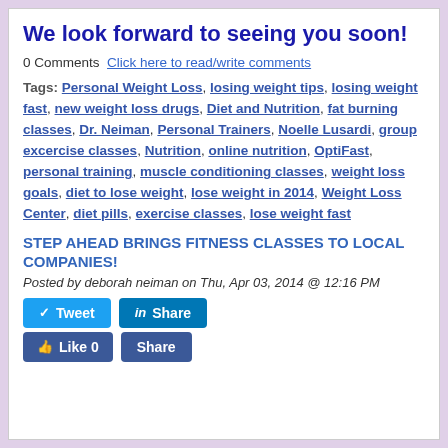We look forward to seeing you soon!
0 Comments  Click here to read/write comments
Tags: Personal Weight Loss, losing weight tips, losing weight fast, new weight loss drugs, Diet and Nutrition, fat burning classes, Dr. Neiman, Personal Trainers, Noelle Lusardi, group excercise classes, Nutrition, online nutrition, OptiFast, personal training, muscle conditioning classes, weight loss goals, diet to lose weight, lose weight in 2014, Weight Loss Center, diet pills, exercise classes, lose weight fast
STEP AHEAD BRINGS FITNESS CLASSES TO LOCAL COMPANIES!
Posted by deborah neiman on Thu, Apr 03, 2014 @ 12:16 PM
[Figure (other): Social media sharing buttons: Tweet, LinkedIn Share, Facebook Like 0, Facebook Share]